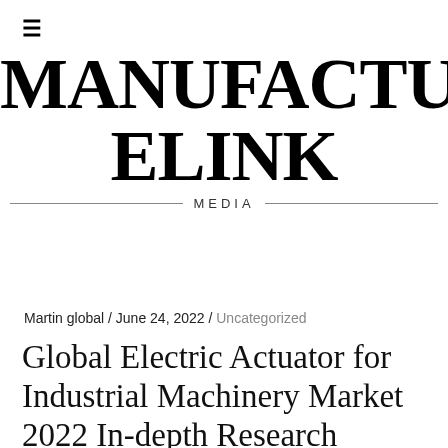≡
MANUFACTURELINK MEDIA
Martin global / June 24, 2022 / Uncategorized
Global Electric Actuator for Industrial Machinery Market 2022 In-depth Research Studies on Products, Regional